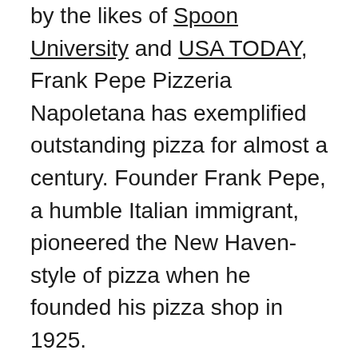by the likes of Spoon University and USA TODAY, Frank Pepe Pizzeria Napoletana has exemplified outstanding pizza for almost a century. Founder Frank Pepe, a humble Italian immigrant, pioneered the New Haven-style of pizza when he founded his pizza shop in 1925.
The pizza shop remains family-run to this day, under the operation of Frank's seven grandchildren. The pizzeria's thin crusts are still coal-fired to crispy, chewy